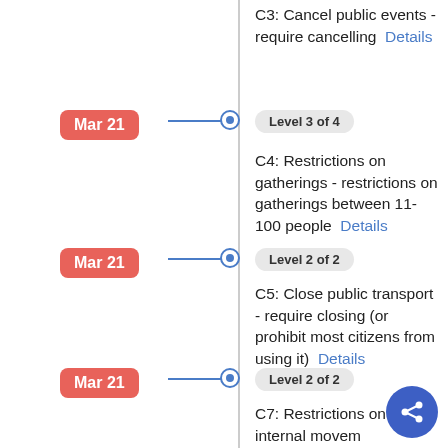C3: Cancel public events - require cancelling  Details
Mar 21 — Level 3 of 4 — C4: Restrictions on gatherings - restrictions on gatherings between 11-100 people  Details
Mar 21 — Level 2 of 2 — C5: Close public transport - require closing (or prohibit most citizens from using it)  Details
Mar 21 — Level 2 of 2 — C7: Restrictions on internal movement - internal movement restrictions in